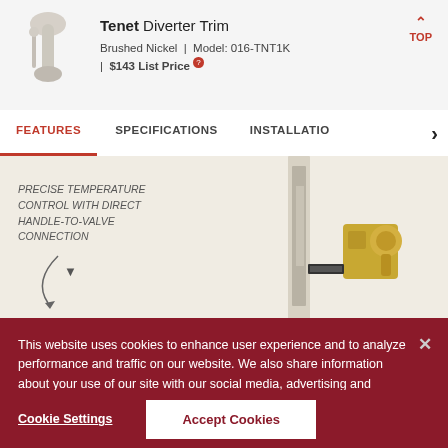[Figure (photo): Product photo of Tenet Diverter Trim in Brushed Nickel finish]
Tenet Diverter Trim
Brushed Nickel | Model: 016-TNT1K | $143 List Price
FEATURES | SPECIFICATIONS | INSTALLATION
[Figure (photo): Diagram of faucet valve assembly showing 'PRECISE TEMPERATURE CONTROL WITH DIRECT HANDLE-TO-VALVE CONNECTION' callout with arrow pointing to the handle-to-valve connection area]
This website uses cookies to enhance user experience and to analyze performance and traffic on our website. We also share information about your use of our site with our social media, advertising and analytics partners. Cookie Policy
Cookie Settings
Accept Cookies